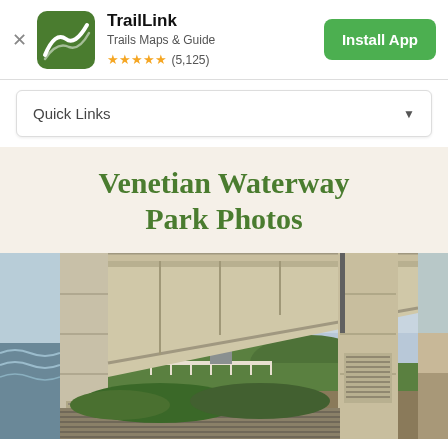[Figure (screenshot): TrailLink app banner with green logo icon, app name TrailLink, subtitle Trails Maps & Guide, 5-star rating (5,125 reviews), and Install App button]
Quick Links ▼
Venetian Waterway Park Photos
[Figure (photo): Partial view of a drawbridge structure open/raised, showing the underside of the bridge deck at an angle, with concrete pillars, ventilation grates, waterway and green vegetation in background, cloudy sky. Left sliver shows ocean/water scene, right edge shows another outdoor scene.]